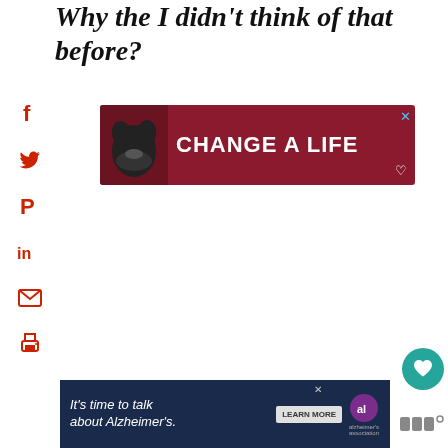Why the I didn't think of that before?
[Figure (screenshot): Advertisement banner with dark red background showing a black dog and text 'CHANGE A LIFE' in large white bold letters, with a close (X) button and heart icon]
[Figure (screenshot): Left sidebar with social sharing icons: Facebook (f), Twitter bird, Pinterest (P), LinkedIn (in), Email envelope, Print printer — all in red/orange color]
[Figure (screenshot): Teal circular favorite/heart button on right side]
[Figure (screenshot): White circular share button with share icon on right side]
[Figure (screenshot): What's Next widget showing small food photo thumbnail with text 'WHAT'S NEXT' arrow and 'Salsa Verde Guacamole']
[Figure (screenshot): Bottom advertisement banner with dark navy background: text 'It's time to talk about Alzheimer's.' with a 'LEARN MORE' button and Alzheimer's Association logo]